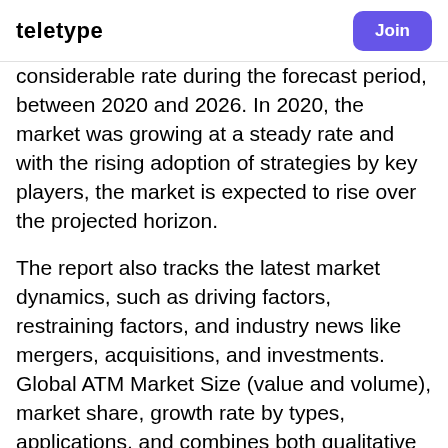teletype | Join
considerable rate during the forecast period, between 2020 and 2026. In 2020, the market was growing at a steady rate and with the rising adoption of strategies by key players, the market is expected to rise over the projected horizon.
The report also tracks the latest market dynamics, such as driving factors, restraining factors, and industry news like mergers, acquisitions, and investments. Global ATM Market Size (value and volume), market share, growth rate by types, applications, and combines both qualitative and quantitative methods to make micro and macro forecasts in different regions or countries.
The report can help to understand the market and strategize for business expansion accordingly. In